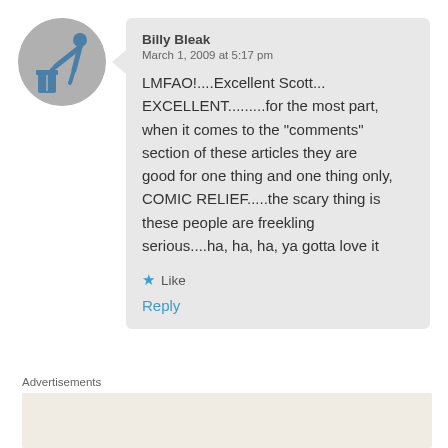[Figure (illustration): Circular avatar icon showing a stick figure bending over a trash can, on a gray background]
Billy Bleak
March 1, 2009 at 5:17 pm
LMFAO!....Excellent Scott... EXCELLENT.........for the most part, when it comes to the "comments" section of these articles they are good for one thing and one thing only, COMIC RELIEF.....the scary thing is these people are freekling serious....ha, ha, ha, ya gotta love it
★ Like
Reply
Advertisements